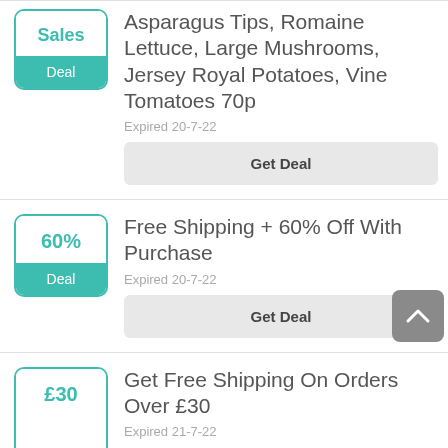[Figure (other): Deal card 1: Sales/Deal badge with teal border, top says 'Sales', bottom teal bar says 'Deal']
Asparagus Tips, Romaine Lettuce, Large Mushrooms, Jersey Royal Potatoes, Vine Tomatoes 70p
Expired 20-7-22
Get Deal
[Figure (other): Deal card 2: 60%/Deal badge with teal border, top says '60%', bottom teal bar says 'Deal']
Free Shipping + 60% Off With Purchase
Expired 20-7-22
Get Deal
[Figure (other): Deal card 3: £30/Deal badge with teal border, top says '£30', bottom partially visible]
Get Free Shipping On Orders Over £30
Expired 21-7-22